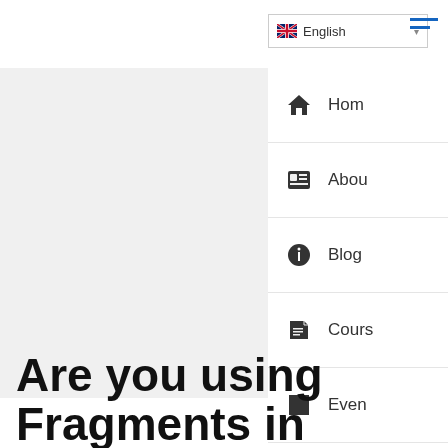English
[Figure (screenshot): Light grey hero/banner image area]
Home
About
Blog
Courses
Events
Jobs
Are you using Fragments in